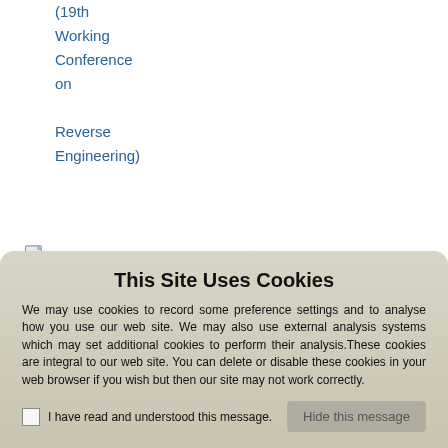(19th Working Conference on Reverse Engineering)
September 24, 2012 - ComPAS/RenPar/SympA/CFSE (Conférence d'informatique
This Site Uses Cookies
We may use cookies to record some preference settings and to analyse how you use our web site. We may also use external analysis systems which may set additional cookies to perform their analysis. These cookies are integral to our web site. You can delete or disable these cookies in your web browser if you wish but then our site may not work correctly.
I have read and understood this message.